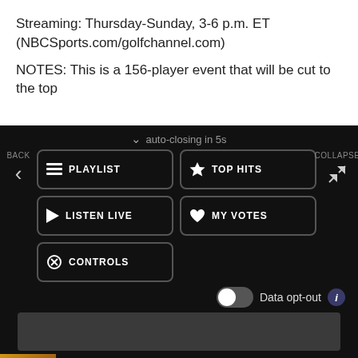Streaming: Thursday-Sunday, 3-6 p.m. ET (NBCSports.com/golfchannel.com)
NOTES: This is a 156-player event that will be cut to the top
auto-closing in 5s
BACK
PLAYLIST
TOP HITS
LISTEN LIVE
MY VOTES
CONTROLS
COLLAPSE
Data opt-out
[Figure (screenshot): Music player bar showing album art thumbnail for Young Turks by Rod Stewart with gray progress bar area]
Young Turks
Rod Stewart
MENU